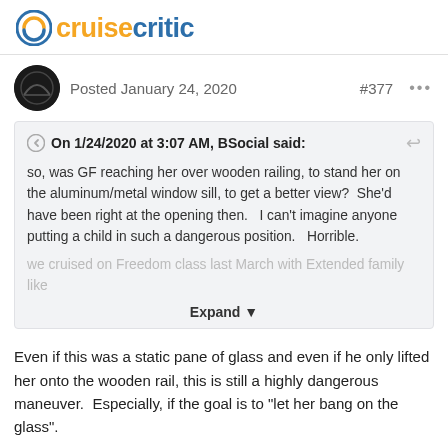cruisecritic
Posted January 24, 2020   #377   ...
On 1/24/2020 at 3:07 AM, BSocial said:
so, was GF reaching her over wooden railing, to stand her on the aluminum/metal window sill, to get a better view?   She'd have been right at the opening then.   I can't imagine anyone putting a child in such a dangerous position.   Horrible.
we cruised on Freedom class last March with Extended family like
Expand
Even if this was a static pane of glass and even if he only lifted her onto the wooden rail, this is still a highly dangerous maneuver.  Especially, if the goal is to "let her bang on the glass".
If he loose grip and she falls forward into the glass, she gets injured, no